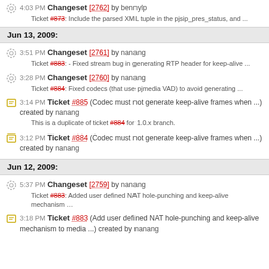4:03 PM Changeset [2762] by bennylp — Ticket #873: Include the parsed XML tuple in the pjsip_pres_status, and ...
Jun 13, 2009:
3:51 PM Changeset [2761] by nanang — Ticket #883: - Fixed stream bug in generating RTP header for keep-alive ...
3:28 PM Changeset [2760] by nanang — Ticket #884: Fixed codecs (that use pjmedia VAD) to avoid generating ...
3:14 PM Ticket #885 (Codec must not generate keep-alive frames when ...) created by nanang — This is a duplicate of ticket #884 for 1.0.x branch.
3:12 PM Ticket #884 (Codec must not generate keep-alive frames when ...) created by nanang
Jun 12, 2009:
5:37 PM Changeset [2759] by nanang — Ticket #883: Added user defined NAT hole-punching and keep-alive mechanism ...
3:18 PM Ticket #883 (Add user defined NAT hole-punching and keep-alive mechanism to media ...) created by nanang